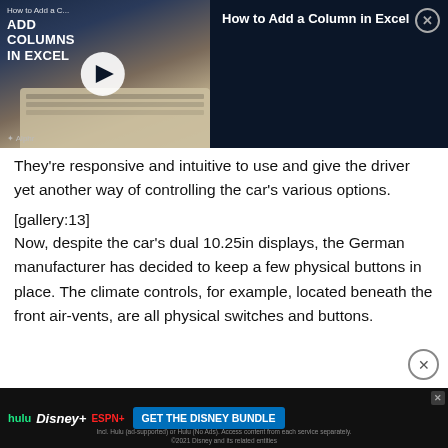[Figure (screenshot): Video overlay showing 'How to Add Columns in Excel' with play button, laptop thumbnail, and video title panel on dark navy background]
They're responsive and intuitive to use and give the driver yet another way of controlling the car's various options.
[gallery:13]
Now, despite the car's dual 10.25in displays, the German manufacturer has decided to keep a few physical buttons in place. The climate controls, for example, located beneath the front air-vents, are all physical switches and buttons.
[Figure (screenshot): Advertisement banner for The Disney Bundle (Hulu, Disney+, ESPN+) with blue CTA button]